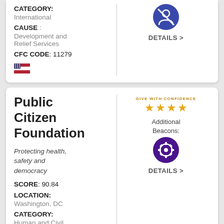CATEGORY: International
CAUSE : Development and Relief Services
CFC CODE: 11279
[Figure (illustration): Crossed-out person icon in blue circle (top card right side), Details > link below]
Public Citizen Foundation
Protecting health, safety and democracy
SCORE: 90.84
LOCATION: Washington, DC
CATEGORY: Human and Civil Rights
CAUSE : Advocacy and Education
[Figure (illustration): Give With Confidence 4-star rating badge with gold stars, Additional Beacons label, gear/wheel icon in dark blue circle, DETAILS > link]